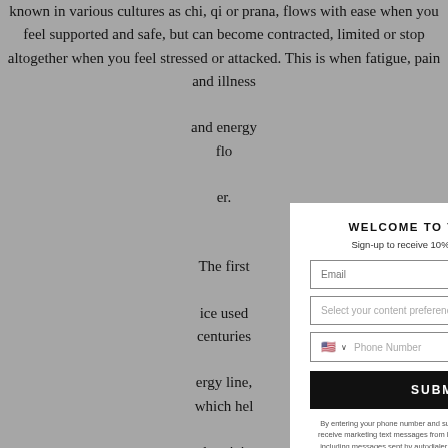known in various cultures as chi, qi or prana, flows with ease when you feel supported and safe, but can become contracted, limited or stop altogether when you feel stressed or attacked. This is when fatigue, pain and illness ... and energy flow ... er.
The first ... ice used centuries ... ergy line, which hel... nd toxicity from you... through
●Sta... n off
●Place yo... rs spread
●Deeply i... your heart
●Inhale ag... nead with palm ope... your palm facing... s feels
[Figure (screenshot): Modal popup overlay with 'WELCOME TO THE NATION' header, email input, content preference dropdown, phone number field with US flag, SUBMIT button, and legal consent text with Privacy Policy and Terms of Service links.]